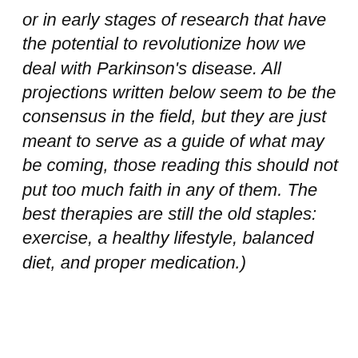or in early stages of research that have the potential to revolutionize how we deal with Parkinson's disease. All projections written below seem to be the consensus in the field, but they are just meant to serve as a guide of what may be coming, those reading this should not put too much faith in any of them. The best therapies are still the old staples: exercise, a healthy lifestyle, balanced diet, and proper medication.)